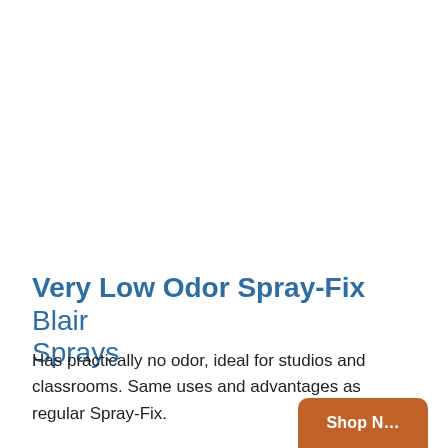Very Low Odor Spray-Fix Blair Sprays
Has practically no odor, ideal for studios and classrooms. Same uses and advantages as regular Spray-Fix.